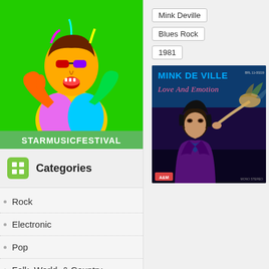[Figure (illustration): Colorful pop-art illustration of a singer on green background with 'STARMUSICFESTIVAL' label below]
Categories
Rock
Electronic
Pop
Folk, World, & Country
Jazz
Mink Deville   Blues Rock
1981
[Figure (photo): Album cover for Mink De Ville 'Love And Emotion' (1981) showing a dark-haired person in purple jacket on dark background with text 'MINK DE VILLE Love And Emotion']